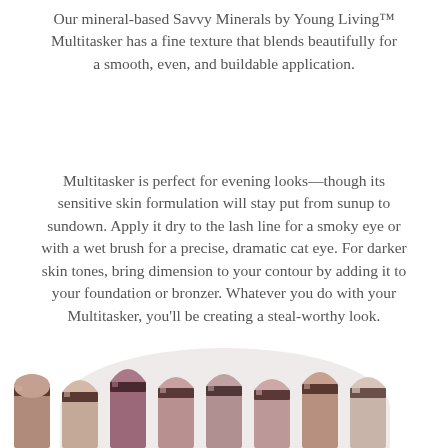Our mineral-based Savvy Minerals by Young Living™ Multitasker has a fine texture that blends beautifully for a smooth, even, and buildable application.
Multitasker is perfect for evening looks—though its sensitive skin formulation will stay put from sunup to sundown. Apply it dry to the lash line for a smoky eye or with a wet brush for a precise, dramatic cat eye. For darker skin tones, bring dimension to your contour by adding it to your foundation or bronzer. Whatever you do with your Multitasker, you'll be creating a steal-worthy look.
[Figure (photo): Row of eight lipstick bullets in various mauve, pink, and rose-gold shades arranged side by side against a light background.]